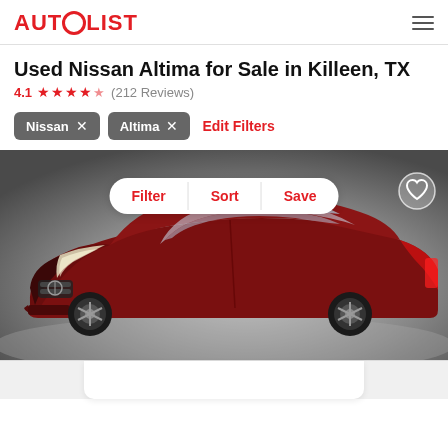AUTOLIST
Used Nissan Altima for Sale in Killeen, TX
4.1 ★★★★☆ (212 Reviews)
Nissan ✕
Altima ✕
Edit Filters
[Figure (photo): Red Nissan Altima sedan shown from front-left angle against a grey studio background, with Filter, Sort, Save buttons overlaid and a heart/favorite icon in the top right corner]
Filter   Sort   Save